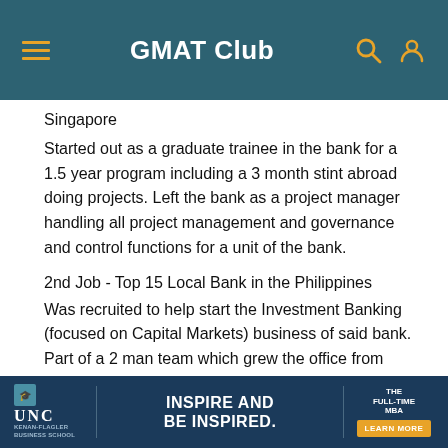GMAT Club
Singapore
Started out as a graduate trainee in the bank for a 1.5 year program including a 3 month stint abroad doing projects. Left the bank as a project manager handling all project management and governance and control functions for a unit of the bank.
2nd Job - Top 15 Local Bank in the Philippines
Was recruited to help start the Investment Banking (focused on Capital Markets) business of said bank. Part of a 2 man team which grew the office from start-up to becoming a top-10 player in the industry also increasing revenues by 400% y-o-y. Currently Officer in Charge of the division since the retirement of previous boss handling all aspects of the unit
[Figure (infographic): UNC Kenan-Flagler Business School advertisement banner: INSPIRE AND BE INSPIRED. THE FULL-TIME MBA. LEARN MORE button.]